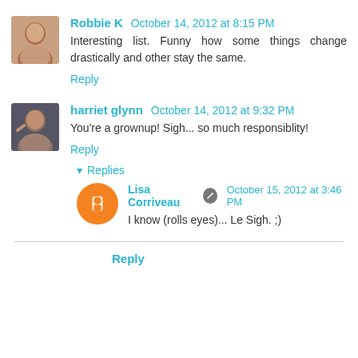Robbie K October 14, 2012 at 8:15 PM — Interesting list. Funny how some things change drastically and other stay the same.
Reply
harriet glynn October 14, 2012 at 9:32 PM — You're a grownup! Sigh... so much responsiblity!
Reply
Replies
Lisa Corriveau October 15, 2012 at 3:46 PM — I know (rolls eyes)... Le Sigh. ;)
Reply